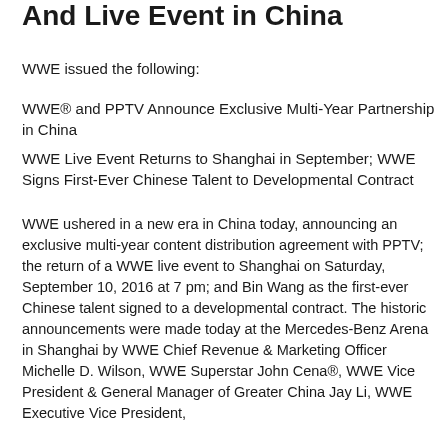And Live Event in China
WWE issued the following:
WWE® and PPTV Announce Exclusive Multi-Year Partnership in China
WWE Live Event Returns to Shanghai in September; WWE Signs First-Ever Chinese Talent to Developmental Contract
WWE ushered in a new era in China today, announcing an exclusive multi-year content distribution agreement with PPTV; the return of a WWE live event to Shanghai on Saturday, September 10, 2016 at 7 pm; and Bin Wang as the first-ever Chinese talent signed to a developmental contract. The historic announcements were made today at the Mercedes-Benz Arena in Shanghai by WWE Chief Revenue & Marketing Officer Michelle D. Wilson, WWE Superstar John Cena®, WWE Vice President & General Manager of Greater China Jay Li, WWE Executive Vice President,